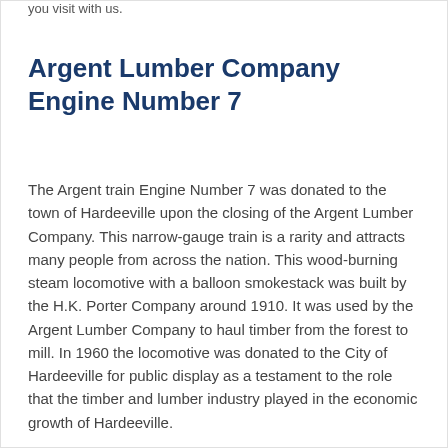you visit with us.
Argent Lumber Company Engine Number 7
The Argent train Engine Number 7 was donated to the town of Hardeeville upon the closing of the Argent Lumber Company. This narrow-gauge train is a rarity and attracts many people from across the nation. This wood-burning steam locomotive with a balloon smokestack was built by the H.K. Porter Company around 1910. It was used by the Argent Lumber Company to haul timber from the forest to mill. In 1960 the locomotive was donated to the City of Hardeeville for public display as a testament to the role that the timber and lumber industry played in the economic growth of Hardeeville.